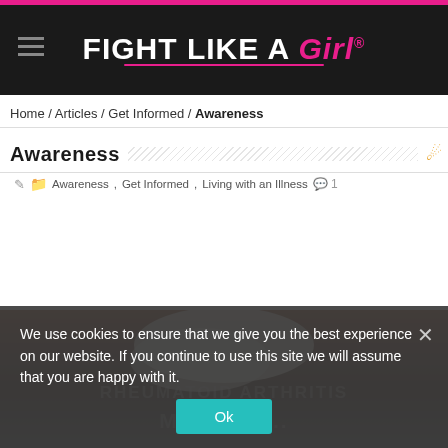FIGHT LIKE A Girl®
Home / Articles / Get Informed / Awareness
Awareness
Let's Get Real – Rheumatoid Arthritis Facts vs. Myths
Awareness, Get Informed, Living with an Illness  1
[Figure (photo): Article header image with overlaid text 'Rheumatoid Arthritis Facts vs. Myths']
We use cookies to ensure that we give you the best experience on our website. If you continue to use this site we will assume that you are happy with it.